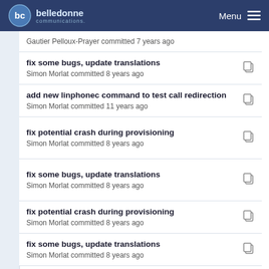belledonne communications — Menu
Gautier Pelloux-Prayer committed 7 years ago
fix some bugs, update translations
Simon Morlat committed 8 years ago
add new linphonec command to test call redirection
Simon Morlat committed 11 years ago
fix potential crash during provisioning
Simon Morlat committed 8 years ago
fix some bugs, update translations
Simon Morlat committed 8 years ago
fix potential crash during provisioning
Simon Morlat committed 8 years ago
fix some bugs, update translations
Simon Morlat committed 8 years ago